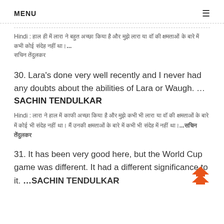MENU ≡
Hindi : [Hindi text] ...सचिन तेंदुलकर
30. Lara's done very well recently and I never had any doubts about the abilities of Lara or Waugh. ... SACHIN TENDULKAR
Hindi : [Hindi translation text] ...सचिन तेंदुलकर
31. It has been very good here, but the World Cup game was different. It had a different significance to it. ...SACHIN TENDULKAR